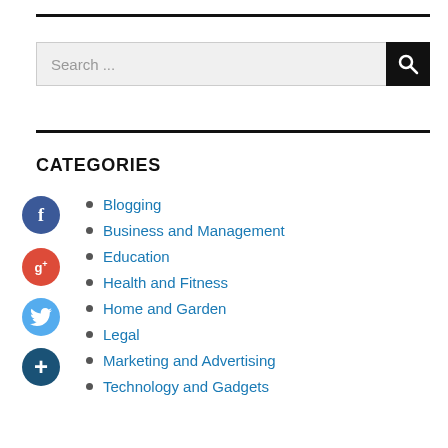[Figure (other): Search bar with text field showing 'Search ...' and a black button with magnifying glass icon]
CATEGORIES
Blogging
Business and Management
Education
Health and Fitness
Home and Garden
Legal
Marketing and Advertising
Technology and Gadgets